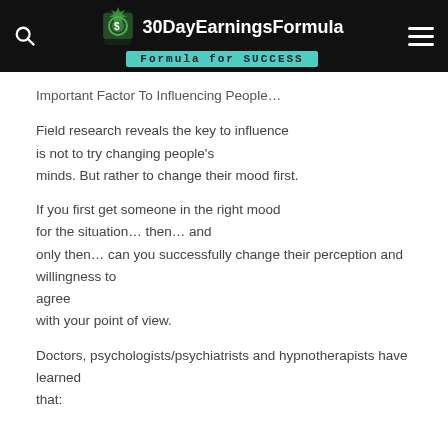30DayEarningsFormula — Formula for SUCCESS
Important Factor To Influencing People…
Field research reveals the key to influence is not to try changing people's minds. But rather to change their mood first.
If you first get someone in the right mood for the situation… then… and only then… can you successfully change their perception and willingness to agree with your point of view.
Doctors, psychologists/psychiatrists and hypnotherapists have learned that: